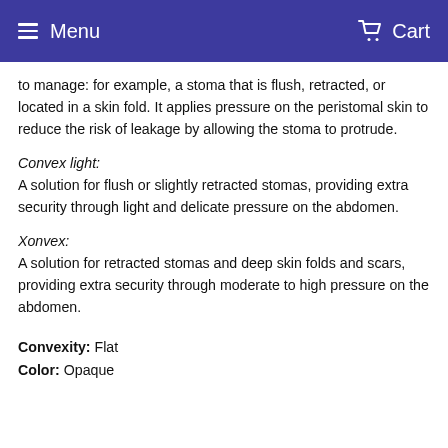Menu  Cart
to manage: for example, a stoma that is flush, retracted, or located in a skin fold. It applies pressure on the peristomal skin to reduce the risk of leakage by allowing the stoma to protrude.
Convex light:
A solution for flush or slightly retracted stomas, providing extra security through light and delicate pressure on the abdomen.
Xonvex:
A solution for retracted stomas and deep skin folds and scars, providing extra security through moderate to high pressure on the abdomen.
Convexity: Flat
Color: Opaque